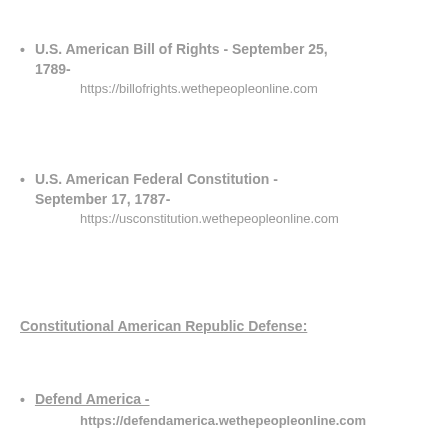U.S. American Bill of Rights - September 25, 1789-
https://billofrights.wethepeopleonline.com
U.S. American Federal Constitution - September 17, 1787-
https://usconstitution.wethepeopleonline.com
Constitutional American Republic Defense:
Defend America -
https://defendamerica.wethepeopleonline.com